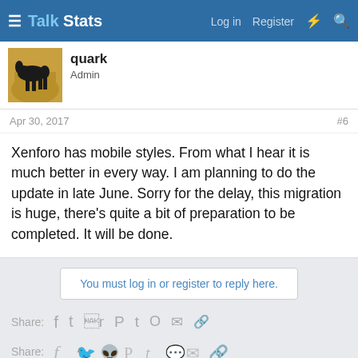Talk Stats — Log in  Register
quark
Admin
Apr 30, 2017    #6
Xenforo has mobile styles. From what I hear it is much better in every way. I am planning to do the update in late June. Sorry for the delay, this migration is huge, there's quite a bit of preparation to be completed. It will be done.
You must log in or register to reply here.
Share:
< Forum Feedback
Terms and rules  Help  Home
Copyright © 2005 - 2017 TalkStats.com All Rights Reserved